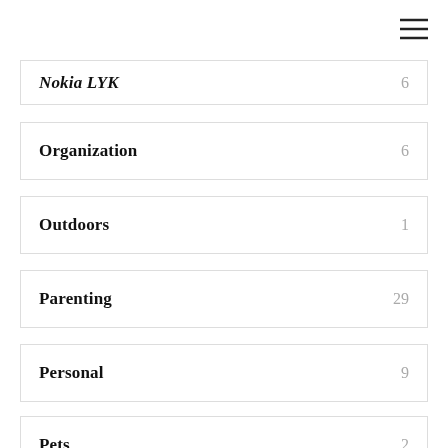[Figure (other): Hamburger menu icon (three horizontal lines) in top right corner]
Nokia LYK  6
Organization  6
Outdoors  1
Parenting  29
Personal  9
Pets  2
Photography  4